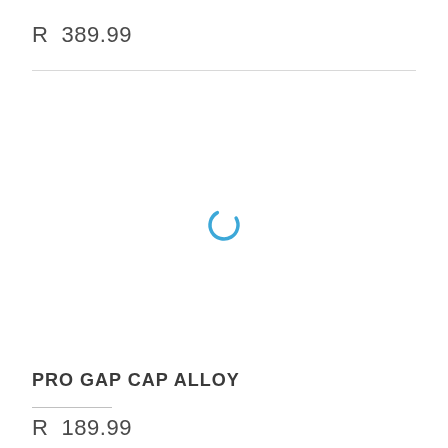R  389.99
[Figure (other): Loading spinner — blue partial circle arc indicating content is loading]
PRO GAP CAP ALLOY
R  189.99